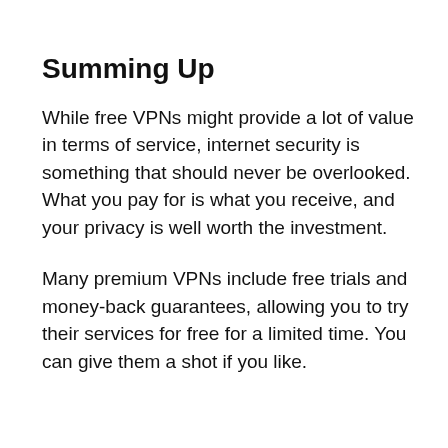Summing Up
While free VPNs might provide a lot of value in terms of service, internet security is something that should never be overlooked. What you pay for is what you receive, and your privacy is well worth the investment.
Many premium VPNs include free trials and money-back guarantees, allowing you to try their services for free for a limited time. You can give them a shot if you like.